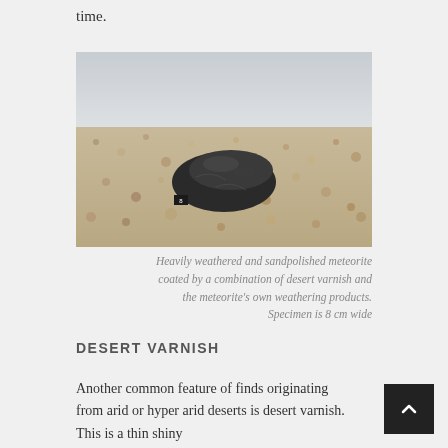time.
[Figure (photo): A heavily weathered and sandpolished dark meteorite sitting on sandy/gravelly desert ground, with a small scale marker beside it. The sky is visible in the background.]
Heavily weathered and sandpolished meteorite coated by a combination of desert varnish and the meteorite's own weathering products. Specimen is 8 cm wide
DESERT VARNISH
Another common feature of finds originating from arid or hyper arid deserts is desert varnish. This is a thin shiny